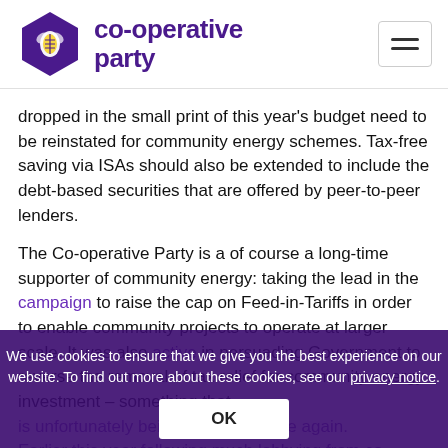co-operative party
dropped in the small print of this year's budget need to be reinstated for community energy schemes. Tax-free saving via ISAs should also be extended to include the debt-based securities that are offered by peer-to-peer lenders.
The Co-operative Party is a of course a long-time supporter of community energy: taking the lead in the campaign to raise the cap on Feed-in-Tariffs in order to enable community projects to operate at larger scale. It was also active in persuading Government to reverse the removal of tax relief for community energy investment – something that is unfortunately being proposed once again.
Earlier this year following much lobbying from co-operatives, the UK Government launched a welcome Community Energy Strategy. However, this does little to
We use cookies to ensure that we give you the best experience on our website. To find out more about these cookies, see our privacy notice.